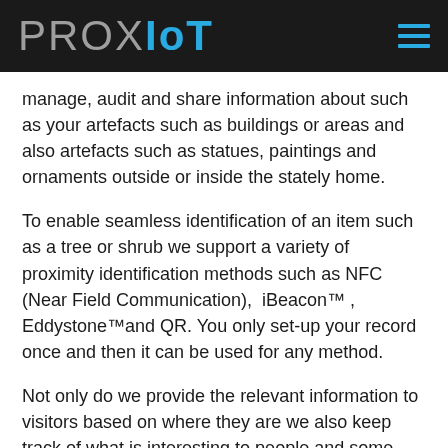PROX IoT
manage, audit and share information about such as your artefacts such as buildings or areas and also artefacts such as statues, paintings and ornaments outside or inside the stately home.
To enable seamless identification of an item such as a tree or shrub we support a variety of proximity identification methods such as NFC (Near Field Communication),  iBeacon™ , Eddystone™and QR. You only set-up your record once and then it can be used for any method.
Not only do we provide the relevant information to visitors based on where they are we also keep track of what is interesting to people and some technical information that would help you make some decisions about priorities